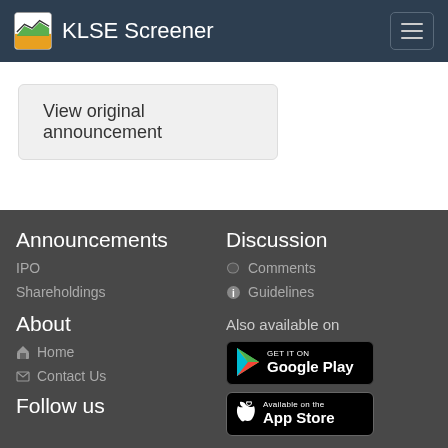KLSE Screener
View original announcement
Announcements
IPO
Shareholdings
About
Home
Contact Us
Follow us
Discussion
Comments
Guidelines
Also available on
[Figure (logo): Google Play store badge]
[Figure (logo): Apple App Store badge]